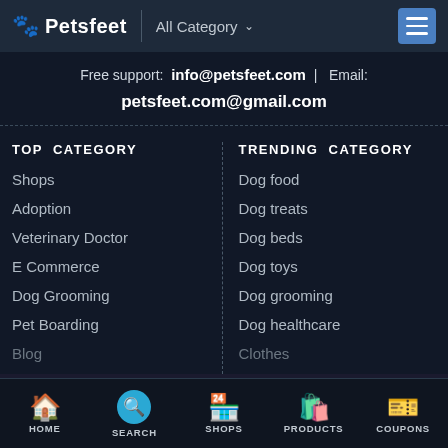Petsfeet | All Category
Free support: info@petsfeet.com | Email: petsfeet.com@gmail.com
TOP CATEGORY
Shops
Adoption
Veterinary Doctor
E Commerce
Dog Grooming
Pet Boarding
Blog
TRENDING CATEGORY
Dog food
Dog treats
Dog beds
Dog toys
Dog grooming
Dog healthcare
Clothes
HOME | SEARCH | SHOPS | PRODUCTS | COUPONS